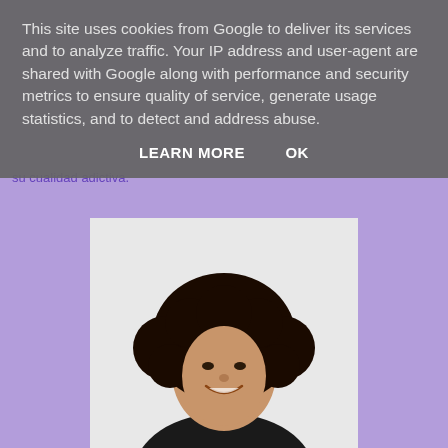This site uses cookies from Google to deliver its services and to analyze traffic. Your IP address and user-agent are shared with Google along with performance and security metrics to ensure quality of service, generate usage statistics, and to detect and address abuse.
LEARN MORE   OK
su cualidad adictiva.
[Figure (photo): Portrait photo of a smiling woman with curly dark hair, wearing a black top, against a light background.]